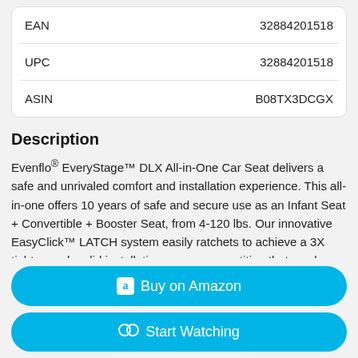| EAN | 32884201518 |
| UPC | 32884201518 |
| ASIN | B08TX3DCGX |
Description
Evenflo® EveryStage™ DLX All-in-One Car Seat delivers a safe and unrivaled comfort and installation experience. This all-in-one offers 10 years of safe and secure use as an Infant Seat + Convertible + Booster Seat, from 4-120 lbs. Our innovative EasyClick™ LATCH system easily ratchets to achieve a 3X tighter, rock-solid installation versus competition that can be correctly secured in seconds, for a
Buy on Amazon
Start Watching